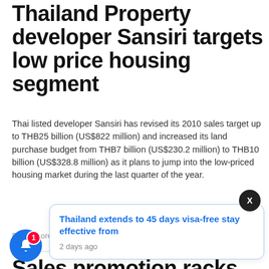Thailand Property developer Sansiri targets low price housing segment
Thai listed developer Sansiri has revised its 2010 sales target up to THB25 billion (US$822 million) and increased its land purchase budget from THB7 billion (US$230.2 million) to THB10 billion (US$328.8 million) as it plans to jump into the low-priced housing market during the last quarter of the year.
Daniel Lorenzzo · October 1, 2010
Sales promotion racks US$16m at Sathorn Garden project